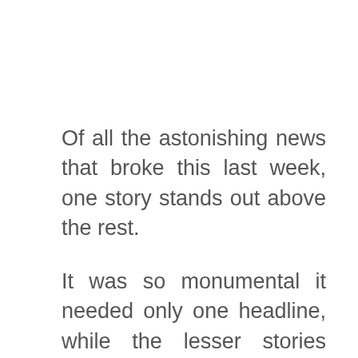Of all the astonishing news that broke this last week, one story stands out above the rest.
It was so monumental it needed only one headline, while the lesser stories gobbled up several to try to prove their worth. It was so very significant it needed only the briefest of blips on a website to to enter our collective consciousness, while other stories dangled around for days trying to get